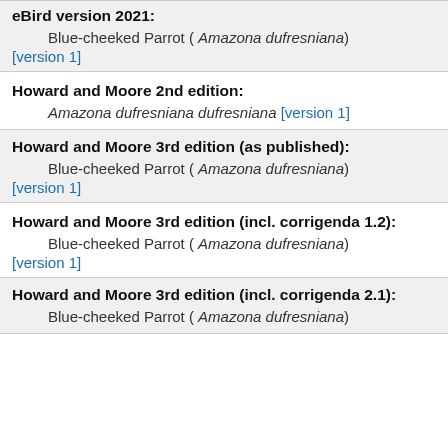eBird version 2021:
Blue-cheeked Parrot ( Amazona dufresniana)
[version 1]
Howard and Moore 2nd edition:
Amazona dufresniana dufresniana [version 1]
Howard and Moore 3rd edition (as published):
Blue-cheeked Parrot ( Amazona dufresniana)
[version 1]
Howard and Moore 3rd edition (incl. corrigenda 1.2):
Blue-cheeked Parrot ( Amazona dufresniana)
[version 1]
Howard and Moore 3rd edition (incl. corrigenda 2.1):
Blue-cheeked Parrot ( Amazona dufresniana)